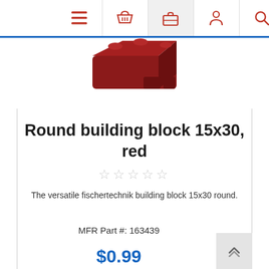Navigation bar with menu, cart, briefcase, user, and search icons
[Figure (photo): Red fischertechnik round building block 15x30, viewed from above at an angle, showing dark red rectangular block with rounded connectors]
Round building block 15x30, red
The versatile fischertechnik building block 15x30 round.
MFR Part #: 163439
$0.99